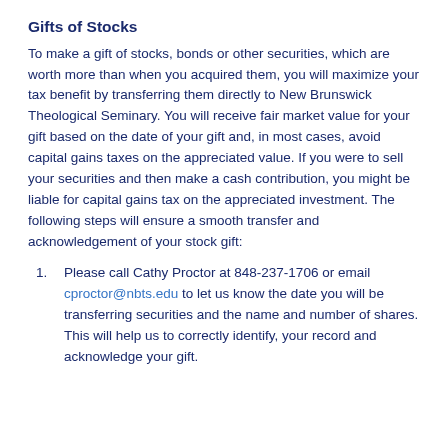Gifts of Stocks
To make a gift of stocks, bonds or other securities, which are worth more than when you acquired them, you will maximize your tax benefit by transferring them directly to New Brunswick Theological Seminary. You will receive fair market value for your gift based on the date of your gift and, in most cases, avoid capital gains taxes on the appreciated value. If you were to sell your securities and then make a cash contribution, you might be liable for capital gains tax on the appreciated investment. The following steps will ensure a smooth transfer and acknowledgement of your stock gift:
Please call Cathy Proctor at 848-237-1706 or email cproctor@nbts.edu to let us know the date you will be transferring securities and the name and number of shares. This will help us to correctly identify, your record and acknowledge your gift.